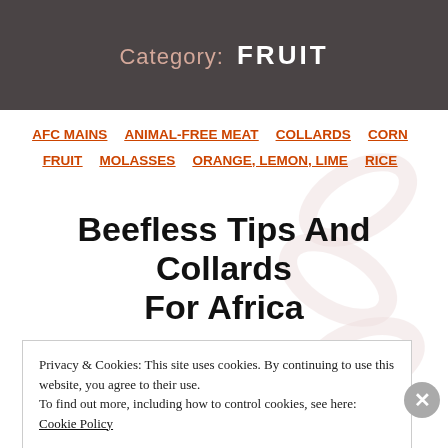Category: FRUIT
AFC MAINS  ANIMAL-FREE MEAT  COLLARDS  CORN  FRUIT  MOLASSES  ORANGE, LEMON, LIME  RICE
Beefless Tips And Collards For Africa
Privacy & Cookies: This site uses cookies. By continuing to use this website, you agree to their use.
To find out more, including how to control cookies, see here: Cookie Policy
CLOSE AND ACCEPT